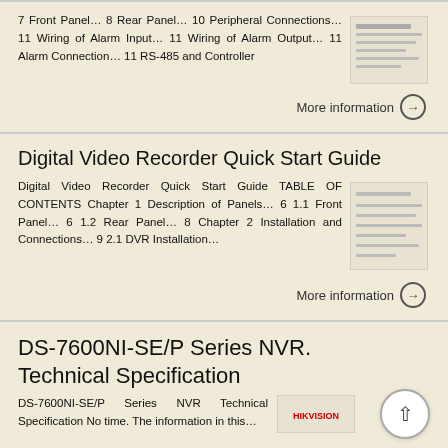7 Front Panel… 8 Rear Panel… 10 Peripheral Connections… 11 Wiring of Alarm Input… 11 Wiring of Alarm Output… 11 Alarm Connection… 11 RS-485 and Controller
[Figure (illustration): Thumbnail image of a DVR front/rear panel document page]
More information →
Digital Video Recorder Quick Start Guide
Digital Video Recorder Quick Start Guide TABLE OF CONTENTS Chapter 1 Description of Panels… 6 1.1 Front Panel… 6 1.2 Rear Panel… 8 Chapter 2 Installation and Connections… 9 2.1 DVR Installation…
[Figure (illustration): Thumbnail image of Digital Video Recorder Quick Start Guide document]
More information →
DS-7600NI-SE/P Series NVR. Technical Specification
DS-7600NI-SE/P Series NVR Technical Specification No time. The information in this...
[Figure (logo): Hikvision logo thumbnail]